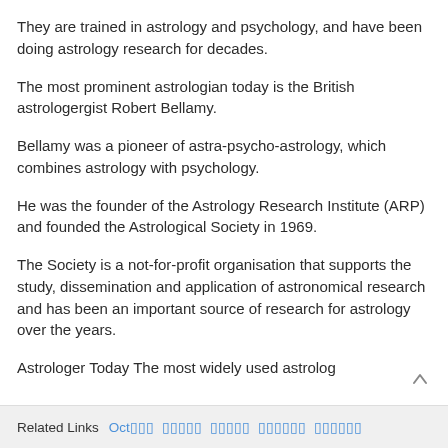They are trained in astrology and psychology, and have been doing astrology research for decades.
The most prominent astrologian today is the British astrologergist Robert Bellamy.
Bellamy was a pioneer of astra-psycho-astrology, which combines astrology with psychology.
He was the founder of the Astrology Research Institute (ARP) and founded the Astrological Society in 1969.
The Society is a not-for-profit organisation that supports the study, dissemination and application of astronomical research and has been an important source of research for astrology over the years.
Astrologer Today The most widely used astrolog
Related Links  Oct□□□  □□□□□  □□□□□  □□□□□□  □□□□□□